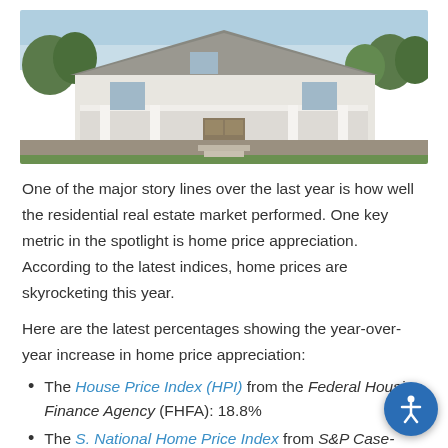[Figure (photo): Photograph of a large white colonial-style house with a covered front porch, white columns, and lush green landscaping.]
One of the major story lines over the last year is how well the residential real estate market performed. One key metric in the spotlight is home price appreciation. According to the latest indices, home prices are skyrocketing this year.
Here are the latest percentages showing the year-over-year increase in home price appreciation:
The House Price Index (HPI) from the Federal Housing Finance Agency (FHFA): 18.8%
The S. National Home Price Index from S&P Case-Shiller: 18.6%
The Home Price Insights Report from CoreLogic: 18%